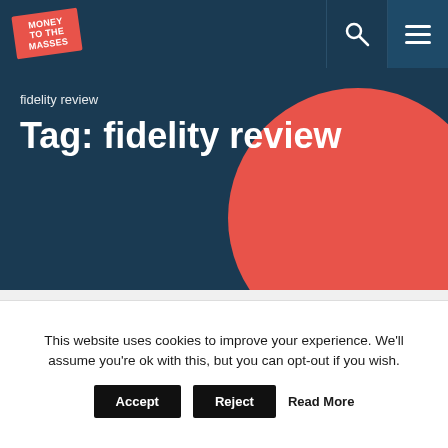[Figure (logo): Money to the Masses logo — red sign on a post with white text]
fidelity review
Tag: fidelity review
This website uses cookies to improve your experience. We'll assume you're ok with this, but you can opt-out if you wish.
Accept   Reject   Read More